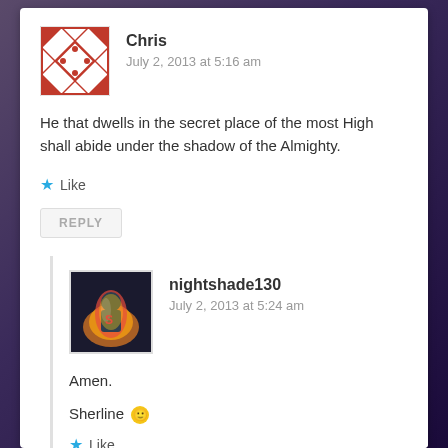Chris
July 2, 2013 at 5:16 am
He that dwells in the secret place of the most High shall abide under the shadow of the Almighty.
★ Like
REPLY
nightshade130
July 2, 2013 at 5:24 am
Amen.
Sherline 🙂
★ Like